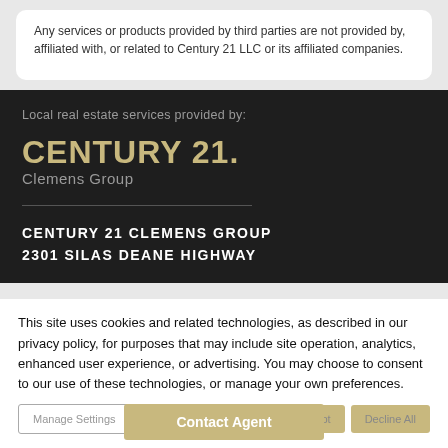Any services or products provided by third parties are not provided by, affiliated with, or related to Century 21 LLC or its affiliated companies.
Local real estate services provided by:
[Figure (logo): Century 21 Clemens Group logo in gold on dark background]
CENTURY 21 CLEMENS GROUP
2301 SILAS DEANE HIGHWAY
This site uses cookies and related technologies, as described in our privacy policy, for purposes that may include site operation, analytics, enhanced user experience, or advertising. You may choose to consent to our use of these technologies, or manage your own preferences.